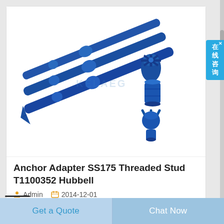[Figure (photo): Product photo showing blue metallic anchor adapter components: three elongated drill rods/bars laid diagonally, plus three smaller connector/adapter pieces (threaded fittings and a hex socket piece) arranged to the right. Blue industrial drilling equipment. Watermark text 'KELAEG' visible faintly in center.]
Anchor Adapter SS175 Threaded Stud T1100352 Hubbell
Admin   2014-12-01
SS 175 Guy Adapter with Threaded Stud